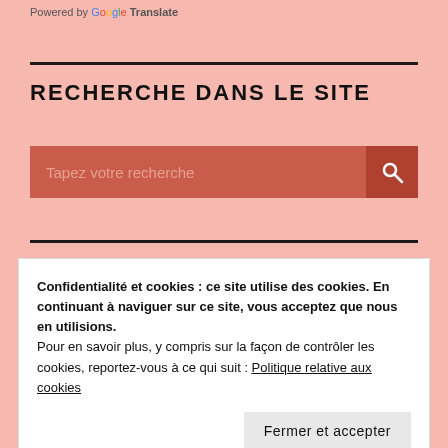Powered by Google Translate
RECHERCHE DANS LE SITE
[Figure (screenshot): Search input box with placeholder text 'Tapez votre recherche' and a search icon button]
Confidentialité et cookies : ce site utilise des cookies. En continuant à naviguer sur ce site, vous acceptez que nous en utilisions.
Pour en savoir plus, y compris sur la façon de contrôler les cookies, reportez-vous à ce qui suit : Politique relative aux cookies
Fermer et accepter